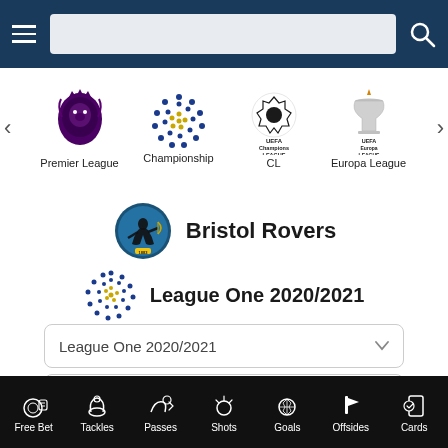Navigation bar with hamburger menu, search box, and search icon
[Figure (screenshot): League logos carousel: Premier League (lion crest), Championship (dotted ball), CL (UEFA Champions League), Europa League]
Premier League  Championship  CL  Europa League
[Figure (logo): Bristol Rovers club crest]
Bristol Rovers
[Figure (logo): League One dotted ball logo]
League One 2020/2021
League One 2020/2021
Bristol Rovers
Player stats per match
Free Bet  Tackles  Passes  Shots  Goals  Offsides  Cards